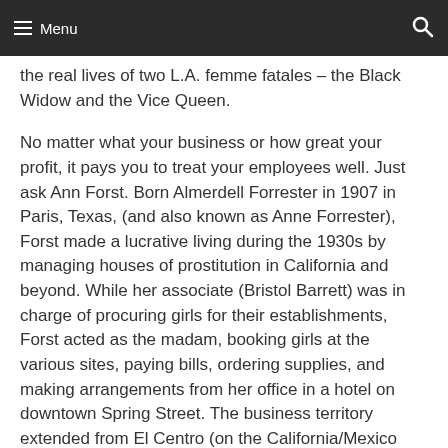Menu | [navigation bar with search icon]
the real lives of two L.A. femme fatales – the Black Widow and the Vice Queen.
No matter what your business or how great your profit, it pays you to treat your employees well. Just ask Ann Forst. Born Almerdell Forrester in 1907 in Paris, Texas, (and also known as Anne Forrester), Forst made a lucrative living during the 1930s by managing houses of prostitution in California and beyond. While her associate (Bristol Barrett) was in charge of procuring girls for their establishments, Forst acted as the madam, booking girls at the various sites, paying bills, ordering supplies, and making arrangements from her office in a hotel on downtown Spring Street. The business territory extended from El Centro (on the California/Mexico border) to Seattle, Washington.